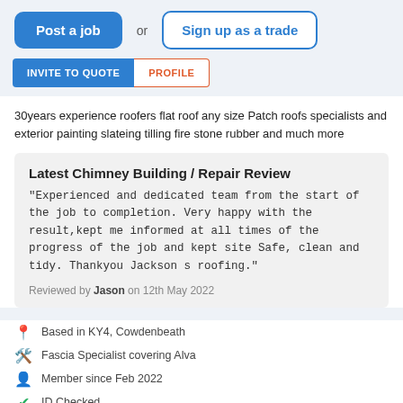Post a job or Sign up as a trade
30years experience roofers flat roof any size Patch roofs specialists and exterior painting slateing tilling fire stone rubber and much more
Latest Chimney Building / Repair Review
"Experienced and dedicated team from the start of the job to completion. Very happy with the result,kept me informed at all times of the progress of the job and kept site Safe, clean and tidy. Thankyou Jackson s roofing."
Reviewed by Jason on 12th May 2022
Based in KY4, Cowdenbeath
Fascia Specialist covering Alva
Member since Feb 2022
ID Checked